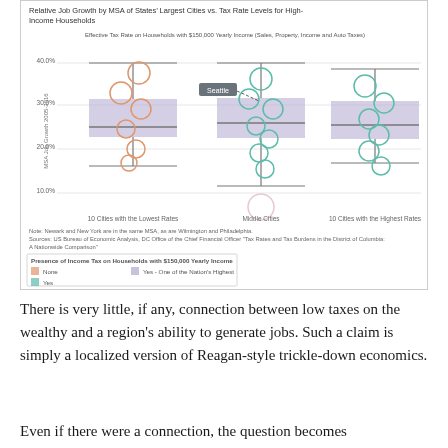[Figure (scatter-plot): Box-and-whisker scatter plot showing relative job growth by MSA of states' largest cities vs. effective tax rate levels. Three groups: 10 Cities with the Lowest Rates (orange circles), Middle Cities (teal/green circles), and 10 Cities with the Highest Rates (teal circles). Seattle is labeled with an arrow. Y-axis shows 10.0% to 40.0%. Legend shows: None (orange), Yes (teal), Yes - One of the Nation's Highest (purple). Presence of Income Tax on Households with $150,000 Yearly Income.]
There is very little, if any, connection between low taxes on the wealthy and a region's ability to generate jobs. Such a claim is simply a localized version of Reagan-style trickle-down economics.
Even if there were a connection, the question becomes